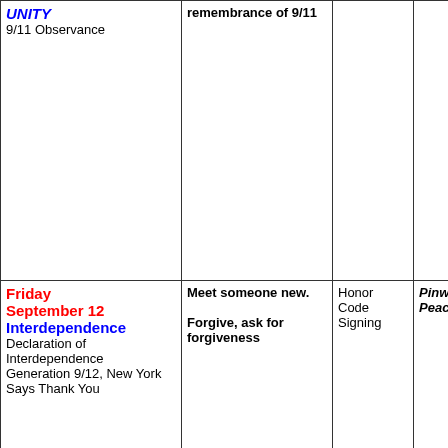| Day/Theme | Activity | School | Peace | Events |
| --- | --- | --- | --- | --- |
| UNITY
9/11 Observance | remembrance of 9/11 |  |  | Building for Peace Discussion
Saint Lu-
United M-
Church. |
| Friday September 12 Interdependence
Declaration of Interdependence
Generation 9/12, New York Says Thank You | Meet someone new.
Forgive, ask for forgiveness | Honor Code Signing | Pinwheels for Peace | 3:30-5:0-
Popcorn movie:
of Peace 2014 & T-
After Pea-
Casady -

5:00 PM
Recipea-
at homes-
local res-
7:30 VFR-
Blancha- |
| Saturday | Use Less Staff |  | Pinwheels | 9-12 PM |